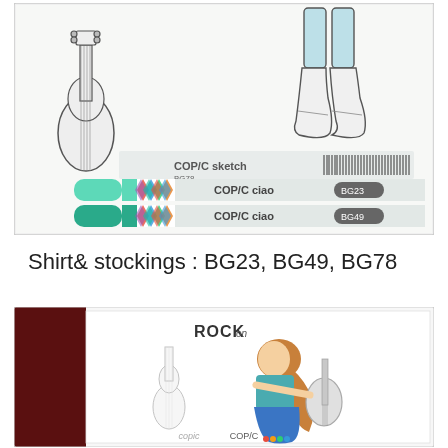[Figure (photo): Photo of three Copic marker pens (BG78, BG23, BG49) laid on a white surface with black-and-white stamp images of a guitar and boots/legs in the background. The markers have green caps and colorful diamond-pattern bands.]
Shirt& stockings : BG23, BG49, BG78
[Figure (photo): Photo of a colored card/artwork featuring a girl with long brown hair playing an electric guitar, with 'Rock' text at top, wearing a teal shirt and blue skirt. Copic logo visible at bottom. A dark brown/maroon panel on the left side.]